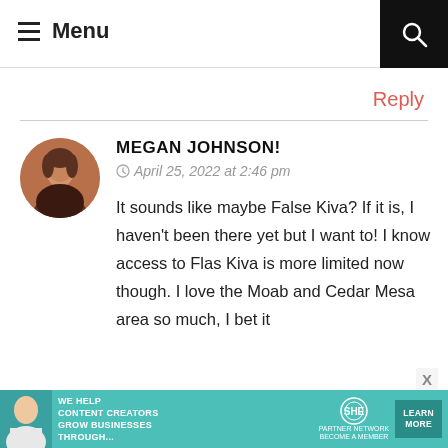≡ Menu
Reply
MEGAN JOHNSON!
April 25, 2022 at 2:46 pm
It sounds like maybe False Kiva? If it is, I haven't been there yet but I want to! I know access to Flas Kiva is more limited now though. I love the Moab and Cedar Mesa area so much, I bet it
[Figure (photo): Circular avatar photo of Megan Johnson sitting in a reddish rock setting]
[Figure (infographic): Advertisement banner: teal background with text 'WE HELP CONTENT CREATORS GROW BUSINESSES THROUGH...' SHE Partner Network logo and 'LEARN MORE' button]